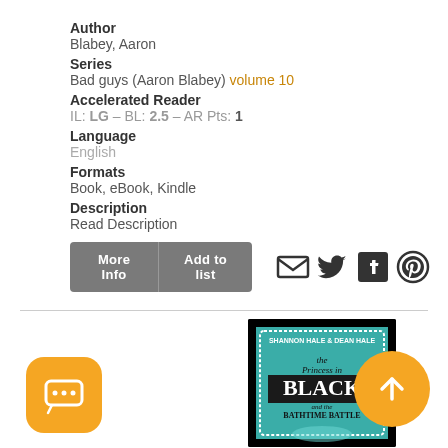Author
Blabey, Aaron
Series
Bad guys (Aaron Blabey) volume 10
Accelerated Reader
IL: LG – BL: 2.5 – AR Pts: 1
Language
English
Formats
Book, eBook, Kindle
Description
Read Description
[Figure (screenshot): Buttons: More Info, Add to list, and social sharing icons (email, twitter, facebook, pinterest)]
[Figure (photo): Book cover: The Princess in Black and the Bathtime Battle by Shannon Hale and Dean Hale]
[Figure (illustration): Chat bubble icon button (orange rounded square)]
[Figure (illustration): Up arrow icon button (orange circle)]